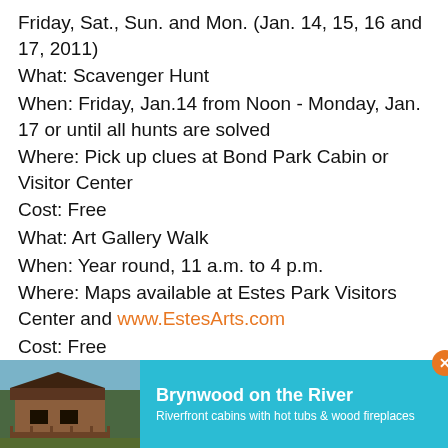Friday, Sat., Sun. and Mon. (Jan. 14, 15, 16 and 17, 2011)
What: Scavenger Hunt
When: Friday, Jan.14 from Noon - Monday, Jan. 17 or until all hunts are solved
Where: Pick up clues at Bond Park Cabin or Visitor Center
Cost: Free
What: Art Gallery Walk
When: Year round, 11 a.m. to 4 p.m.
Where: Maps available at Estes Park Visitors Center and www.EstesArts.com
Cost: Free
What:
[Figure (photo): Advertisement banner for Brynwood on the River - riverfront cabins with hot tubs and wood fireplaces, showing a photo of a cabin and a teal background with text]